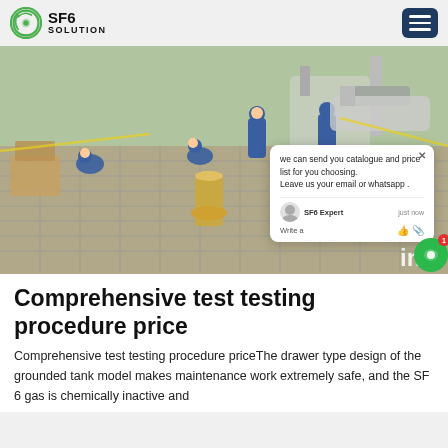SF6 SOLUTION
[Figure (photo): Workers in blue coveralls and hard hats performing maintenance on industrial equipment, likely SF6 gas-insulated switchgear, at an outdoor industrial facility. A chat popup overlay is visible in the lower right of the image showing 'we can send you catalogue and price list for you choosing. Leave us your email or whatsapp .' from 'SF6 Expert just now'.]
Comprehensive test testing procedure price
Comprehensive test testing procedure priceThe drawer type design of the grounded tank model makes maintenance work extremely safe, and the SF 6 gas is chemically inactive and